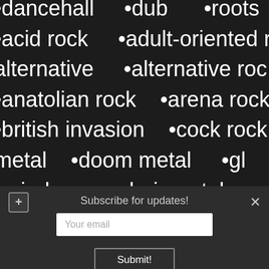•dancehall  •dub  •roots
•acid rock    •adult-oriented r
alternative    •alternative rock
•anatolian rock    •arena rock
•british invasion    •cock rock
metal    •doom metal    •gli
•grind core    •hair metal
Subscribe for updates!
Your email
Submit!